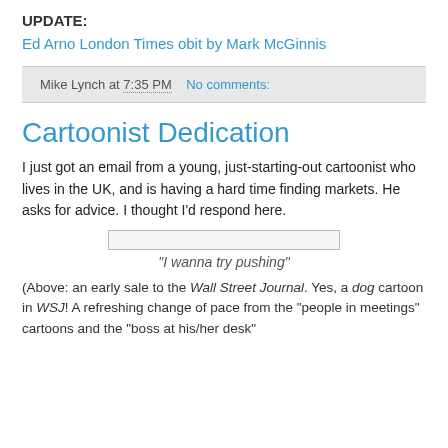UPDATE:
Ed Arno London Times obit by Mark McGinnis
Mike Lynch at 7:35 PM   No comments:
Cartoonist Dedication
I just got an email from a young, just-starting-out cartoonist who lives in the UK, and is having a hard time finding markets. He asks for advice. I thought I'd respond here.
[Figure (illustration): Cartoon image placeholder showing a horizontal rectangle (image stub)]
"I wanna try pushing"
(Above: an early sale to the Wall Street Journal. Yes, a dog cartoon in WSJ! A refreshing change of pace from the "people in meetings" cartoons and the "boss at his/her desk"